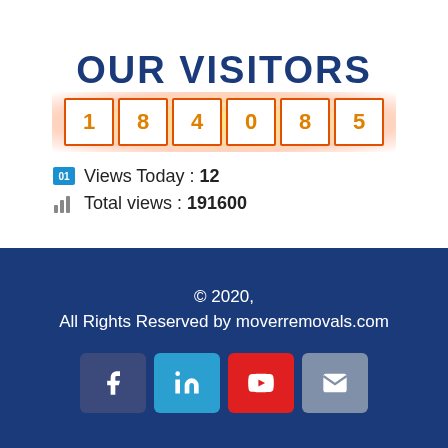OUR VISITORS
[Figure (infographic): Visitor counter showing digits 1 8 4 0 8 5 with orange glow, Views Today: 12, Total views: 191600]
Views Today : 12
Total views : 191600
© 2020, All Rights Reserved by moverremovals.com
[Figure (infographic): Social media icons: Facebook, LinkedIn, YouTube, Email]